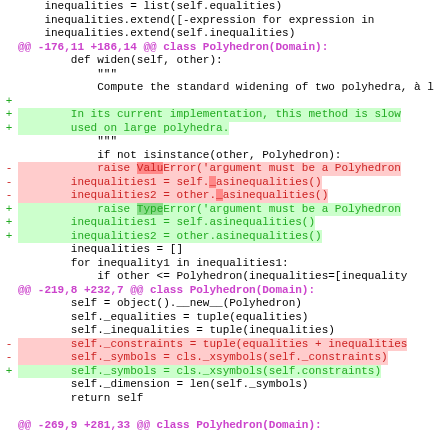Code diff showing changes to Polyhedron class methods
[Figure (screenshot): Git diff output showing changes to Python Polyhedron class, including widen method and constructor changes]